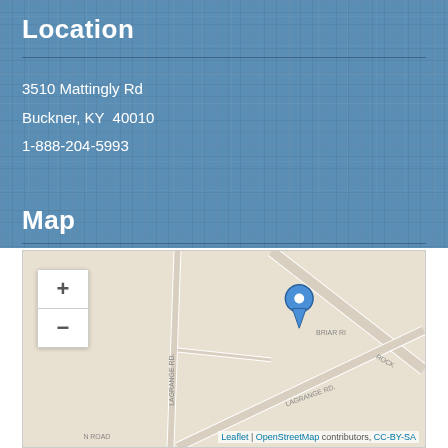Location
3510 Mattingly Rd
Buckner, KY  40010
1-888-204-5993
Map
[Figure (map): OpenStreetMap showing location of 3510 Mattingly Rd, Buckner, KY 40010. Map shows roads including LaGrange Rd, Briar Ri(dge), Rock (road), and N Road. A blue map pin marks the location. Zoom controls (+/-) are visible in the top left. Attribution: Leaflet | OpenStreetMap contributors, CC-BY-SA]
Leaflet | OpenStreetMap contributors, CC-BY-SA